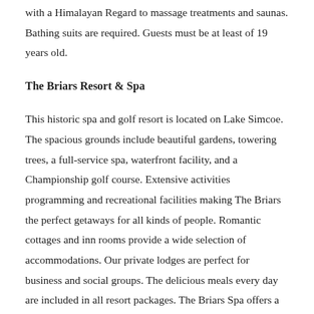with a Himalayan Regard to massage treatments and saunas. Bathing suits are required. Guests must be at least of 19 years old.
The Briars Resort & Spa
This historic spa and golf resort is located on Lake Simcoe. The spacious grounds include beautiful gardens, towering trees, a full-service spa, waterfront facility, and a Championship golf course. Extensive activities programming and recreational facilities making The Briars the perfect getaways for all kinds of people. Romantic cottages and inn rooms provide a wide selection of accommodations. Our private lodges are perfect for business and social groups. The delicious meals every day are included in all resort packages. The Briars Spa offers a wide range of aesthetic and therapeutic treatments in addition to yoga classes. The Briars is located only one hour